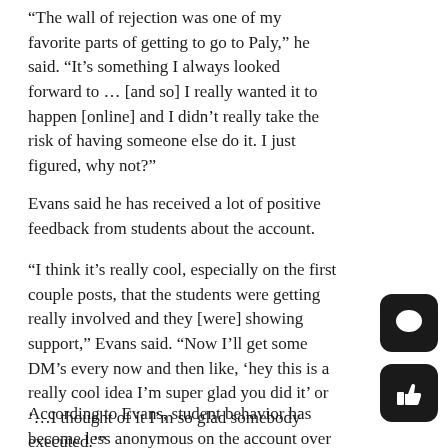“The wall of rejection was one of my favorite parts of getting to go to Paly,” he said. “It’s something I always looked forward to … [and so] I really wanted it to happen [online] and I didn’t really take the risk of having someone else do it. I just figured, why not?”
Evans said he has received a lot of positive feedback from students about the account.
“I think it’s really cool, especially on the first couple posts, that the students were getting really involved and they [were] showing support,” Evans said. “Now I’ll get some DM’s every now and then like, ‘hey this is a really cool idea I’m super glad you did it’ or ‘…I thought of it I’m so glad somebody executed.’”
According to Evans, student behavior has become less anonymous on the account over time.